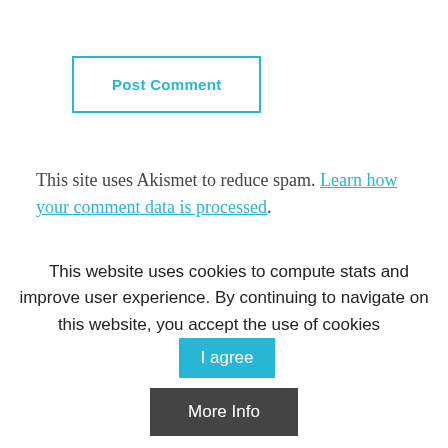[Figure (other): Post Comment button with cyan border and cyan text]
This site uses Akismet to reduce spam. Learn how your comment data is processed.
Recent Posts
This website uses cookies to compute stats and improve user experience. By continuing to navigate on this website, you accept the use of cookies
I agree
More Info